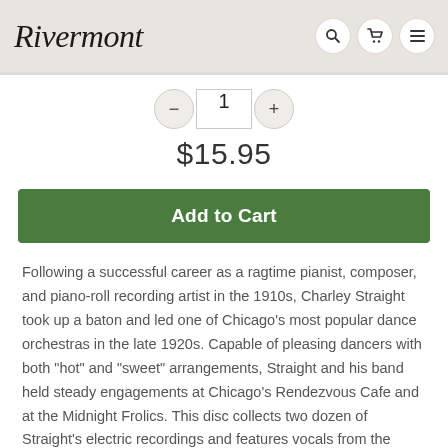Rivermont
$15.95
Add to Cart
Following a successful career as a ragtime pianist, composer, and piano-roll recording artist in the 1910s, Charley Straight took up a baton and led one of Chicago's most popular dance orchestras in the late 1920s. Capable of pleasing dancers with both "hot" and "sweet" arrangements, Straight and his band held steady engagements at Chicago's Rendezvous Cafe and at the Midnight Frolics. This disc collects two dozen of Straight's electric recordings and features vocals from the Williams Sisters (Hannah and Dorothea), the Keller Sisters and